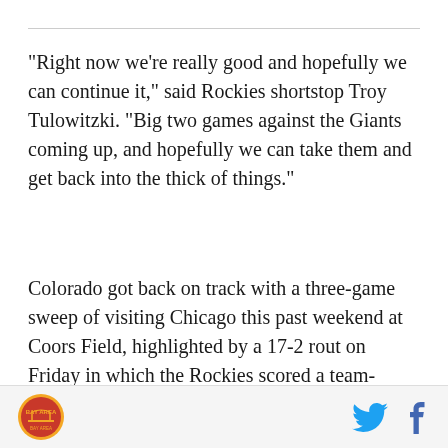"Right now we're really good and hopefully we can continue it," said Rockies shortstop Troy Tulowitzki. "Big two games against the Giants coming up, and hopefully we can take them and get back into the thick of things."
Colorado got back on track with a three-game sweep of visiting Chicago this past weekend at Coors Field, highlighted by a 17-2 rout on Friday in which the Rockies scored a team-record 12 runs in the eighth inning. The team then came through with a pair of one-run decisions, including an 8-7 verdict in Sunday's finale in which Colorado nearly squandered a huge